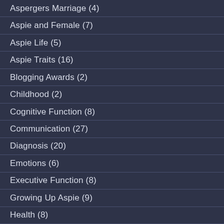Aspergers Marriage (4)
Aspie and Female (7)
Aspie Life (5)
Aspie Traits (16)
Blogging Awards (2)
Childhood (2)
Cognitive Function (8)
Communication (27)
Diagnosis (20)
Emotions (6)
Executive Function (8)
Growing Up Aspie (9)
Health (8)